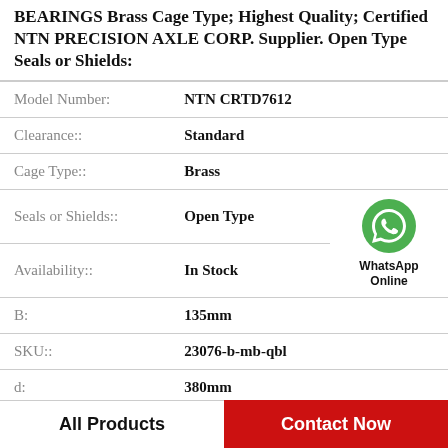BEARINGS Brass Cage Type; Highest Quality; Certified NTN PRECISION AXLE CORP. Supplier. Open Type Seals or Shields:
| Field | Value |
| --- | --- |
| Model Number: | NTN CRTD7612 |
| Clearance:: | Standard |
| Cage Type:: | Brass |
| Seals or Shields:: | Open Type |
| Availability:: | In Stock |
| B: | 135mm |
| SKU:: | 23076-b-mb-qbl |
| d: | 380mm |
[Figure (logo): WhatsApp contact button - green phone icon with WhatsApp Online label]
All Products    Contact Now